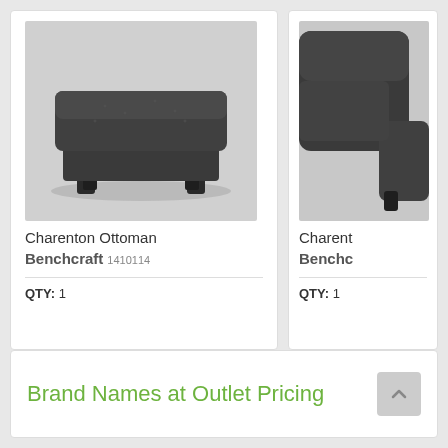[Figure (photo): Product photo of Charenton Ottoman — dark charcoal fabric ottoman with short block legs]
Charenton Ottoman
Benchcraft 1410114
QTY: 1
[Figure (photo): Partial product photo of Charenton item (sofa/chair) in dark charcoal fabric — right edge cropped]
Charent
Benchc
QTY: 1
Brand Names at Outlet Pricing